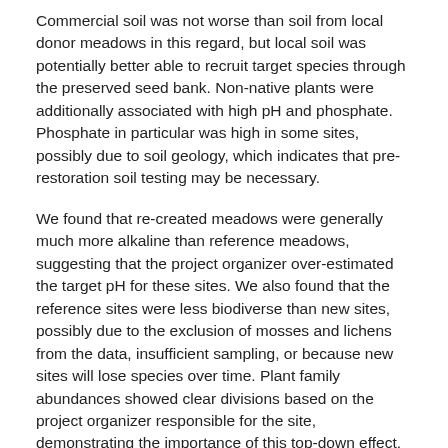Commercial soil was not worse than soil from local donor meadows in this regard, but local soil was potentially better able to recruit target species through the preserved seed bank. Non-native plants were additionally associated with high pH and phosphate. Phosphate in particular was high in some sites, possibly due to soil geology, which indicates that pre-restoration soil testing may be necessary.
We found that re-created meadows were generally much more alkaline than reference meadows, suggesting that the project organizer over-estimated the target pH for these sites. We also found that the reference sites were less biodiverse than new sites, possibly due to the exclusion of mosses and lichens from the data, insufficient sampling, or because new sites will lose species over time. Plant family abundances showed clear divisions based on the project organizer responsible for the site, demonstrating the importance of this top-down effect, but were still differentiated based on meadow type. Importantly, we found that the techniques used in this study were straightforward and useful, with some suggestions for improvement.
Utgiver
Norwegian University of Life Sciences, Ås